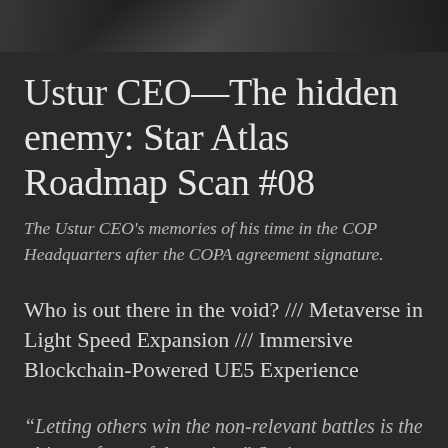[Figure (photo): Dark atmospheric photo strip at top of page, showing a dimly lit scene with dark tones]
Ustur CEO—The hidden enemy: Star Atlas Roadmap Scan #08
The Ustur CEO's memories of his time in the COP Headquarters after the COPA agreement signature.
Who is out there in the void? /// Metaverse in Light Speed Expansion /// Immersive Blockchain-Powered UE5 Experience
“Letting others win the non-relevant battles is the ultimate form of deception.” Saying